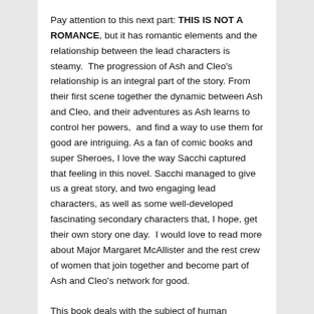Pay attention to this next part: THIS IS NOT A ROMANCE, but it has romantic elements and the relationship between the lead characters is steamy. The progression of Ash and Cleo's relationship is an integral part of the story. From their first scene together the dynamic between Ash and Cleo, and their adventures as Ash learns to control her powers, and find a way to use them for good are intriguing. As a fan of comic books and super Sheroes, I love the way Sacchi captured that feeling in this novel. Sacchi managed to give us a great story, and two engaging lead characters, as well as some well-developed fascinating secondary characters that, I hope, get their own story one day. I would love to read more about Major Margaret McAllister and the rest crew of women that join together and become part of Ash and Cleo's network for good.
This book deals with the subject of human trafficking and past abuse in a sensitive way, and I admired the way Green dealt with the complex issues surrounding it. I